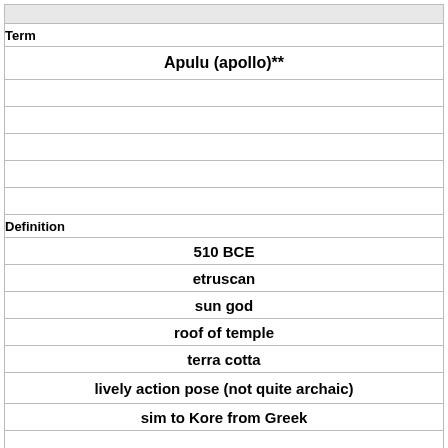| Term | Definition |
| --- | --- |
| Apulu (apollo)** |  |
|  | 510 BCE |
|  | etruscan |
|  | sun god |
|  | roof of temple |
|  | terra cotta |
|  | lively action pose (not quite archaic) |
|  | sim to Kore from Greek |